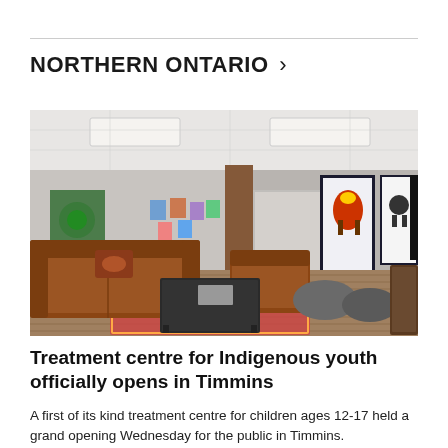NORTHERN ONTARIO >
[Figure (photo): Interior of an Indigenous youth treatment centre showing a lounge area with brown leather sofas, patterned cushions, Indigenous art hangings on the wall, bean bags, a coffee table, and colourful artwork displayed on the walls.]
Treatment centre for Indigenous youth officially opens in Timmins
A first of its kind treatment centre for children ages 12-17 held a grand opening Wednesday for the public in Timmins.